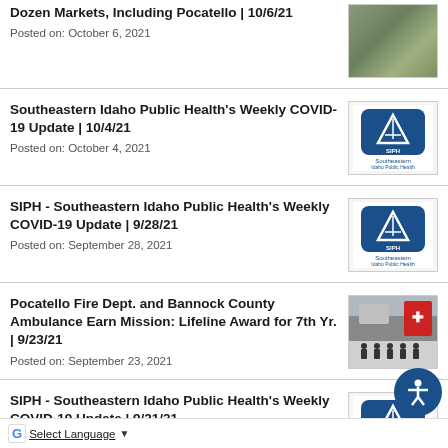Dozen Markets, Including Pocatello | 10/6/21
Posted on: October 6, 2021
Southeastern Idaho Public Health's Weekly COVID-19 Update | 10/4/21
Posted on: October 4, 2021
SIPH - Southeastern Idaho Public Health's Weekly COVID-19 Update | 9/28/21
Posted on: September 28, 2021
Pocatello Fire Dept. and Bannock County Ambulance Earn Mission: Lifeline Award for 7th Yr. | 9/23/21
Posted on: September 23, 2021
SIPH - Southeastern Idaho Public Health's Weekly COVID-19 Update | 9/21/21